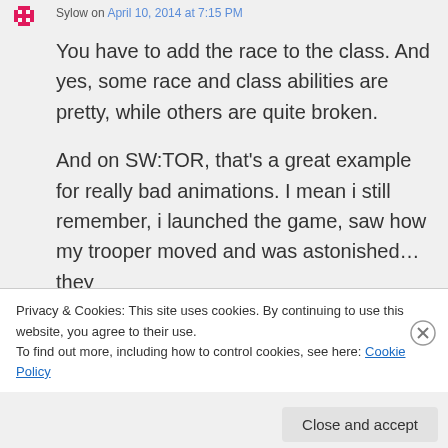Sylow on April 10, 2014 at 7:15 PM
You have to add the race to the class. And yes, some race and class abilities are pretty, while others are quite broken.

And on SW:TOR, that's a great example for really bad animations. I mean i still remember, i launched the game, saw how my trooper moved and was astonished… they
Privacy & Cookies: This site uses cookies. By continuing to use this website, you agree to their use.
To find out more, including how to control cookies, see here: Cookie Policy
Close and accept